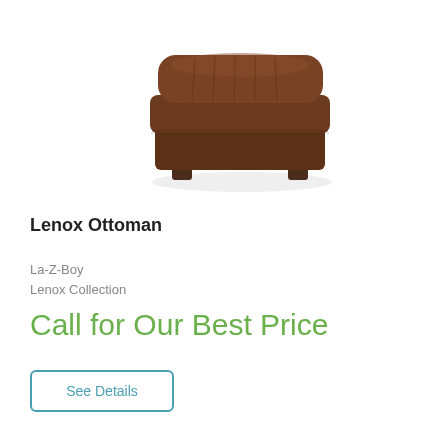[Figure (photo): Brown upholstered ottoman with three horizontal cushion tiers and dark wooden block feet, shown on white background]
Lenox Ottoman
La-Z-Boy
Lenox Collection
Call for Our Best Price
See Details